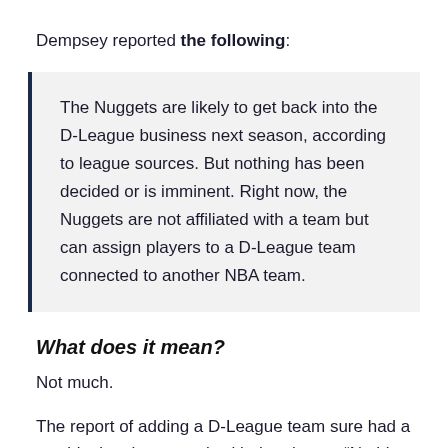Dempsey reported the following:
The Nuggets are likely to get back into the D-League business next season, according to league sources. But nothing has been decided or is imminent. Right now, the Nuggets are not affiliated with a team but can assign players to a D-League team connected to another NBA team.
What does it mean?
Not much.
The report of adding a D-League team sure had a wet blanket thrown on it with the phrase, “Nothing has been decided or is imminent.”
When asked on media day about the possibility of a D-